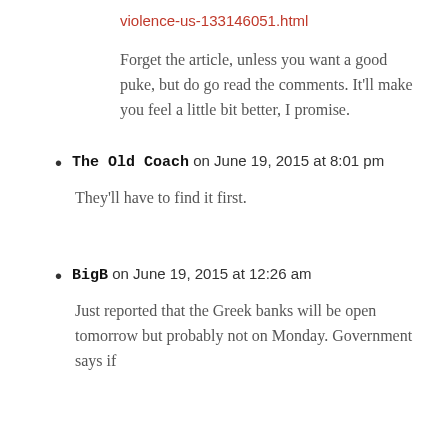violence-us-133146051.html
Forget the article, unless you want a good puke, but do go read the comments. It’ll make you feel a little bit better, I promise.
The Old Coach on June 19, 2015 at 8:01 pm
They’ll have to find it first.
BigB on June 19, 2015 at 12:26 am
Just reported that the Greek banks will be open tomorrow but probably not on Monday. Government says if